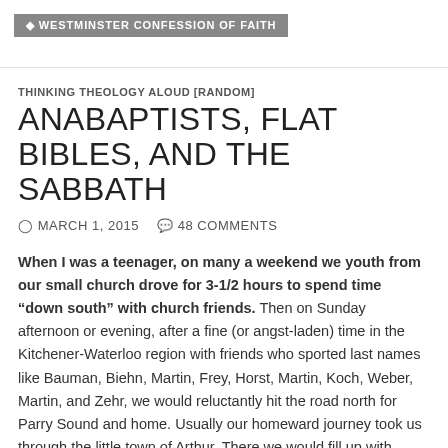WESTMINSTER CONFESSION OF FAITH
THINKING THEOLOGY ALOUD [RANDOM]
ANABAPTISTS, FLAT BIBLES, AND THE SABBATH
MARCH 1, 2015   48 COMMENTS
When I was a teenager, on many a weekend we youth from our small church drove for 3-1/2 hours to spend time “down south” with church friends. Then on Sunday afternoon or evening, after a fine (or angst-laden) time in the Kitchener-Waterloo region with friends who sported last names like Bauman, Biehn, Martin, Frey, Horst, Martin, Koch, Weber, Martin, and Zehr, we would reluctantly hit the road north for Parry Sound and home. Usually our homeward journey took us through the little town of Arthur. There we would fill up with cheap(er) southern gas...